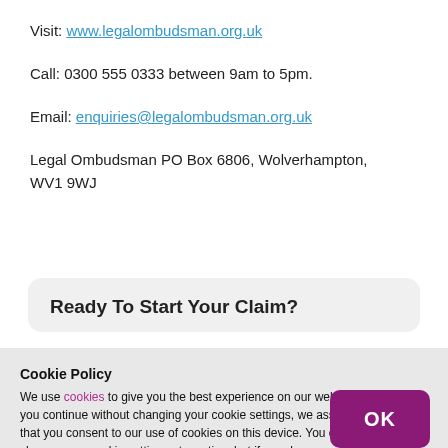Visit: www.legalombudsman.org.uk
Call: 0300 555 0333 between 9am to 5pm.
Email: enquiries@legalombudsman.org.uk
Legal Ombudsman PO Box 6806, Wolverhampton, WV1 9WJ
Ready To Start Your Claim?
Cookie Policy
We use cookies to give you the best experience on our website. If you continue without changing your cookie settings, we assume that you consent to our use of cookies on this device. You can change your cookie settings at any time but if you do, you may lose some functionality on our website. More information can be found in our Privacy Policy and Cookie Policy.